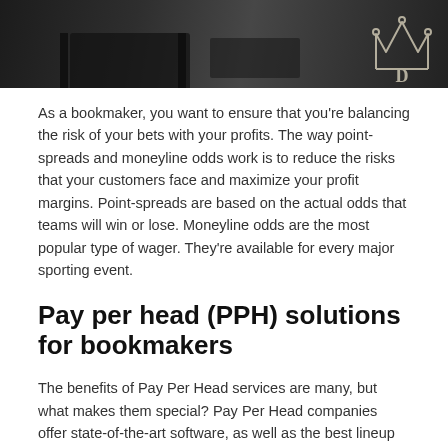[Figure (photo): Dark interior photograph of what appears to be a restaurant or bar with tables and chairs; a glowing crown/logo watermark is visible in the upper right corner]
As a bookmaker, you want to ensure that you're balancing the risk of your bets with your profits. The way point-spreads and moneyline odds work is to reduce the risks that your customers face and maximize your profit margins. Point-spreads are based on the actual odds that teams will win or lose. Moneyline odds are the most popular type of wager. They're available for every major sporting event.
Pay per head (PPH) solutions for bookmakers
The benefits of Pay Per Head services are many, but what makes them special? Pay Per Head companies offer state-of-the-art software, as well as the best lineup of managers, clerks, and line people. They help bookmakers increase their profits while also improving customer service. The following